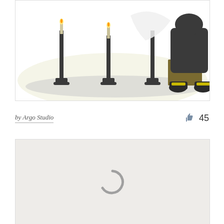[Figure (illustration): Cartoon illustration showing candelabras with lit candles and a dark-robed figure seated, with yellow-accented boots visible, on a light yellow background with a gray shadow ellipse.]
by Argo Studio
45
[Figure (illustration): Loading placeholder: light gray rectangle with a spinning/loading indicator (C-shaped arc) centered in the area.]